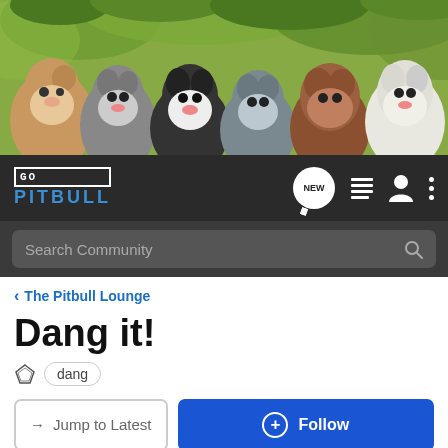[Figure (photo): Banner photo showing six pitbull dogs of various colors (brown/white, grey/white, black/white, grey, brown/wrinkly, white) posed together in front of green leaves/trees background]
[Figure (logo): GoPitbull logo - GO in white box and PITBULL in blue text on dark navbar]
Search Community
< The Pitbull Lounge
Dang it!
dang
→ Jump to Latest
+ Follow
1 - 17 of 17 Posts
OldFortKennels · Premium Member 🇺🇸